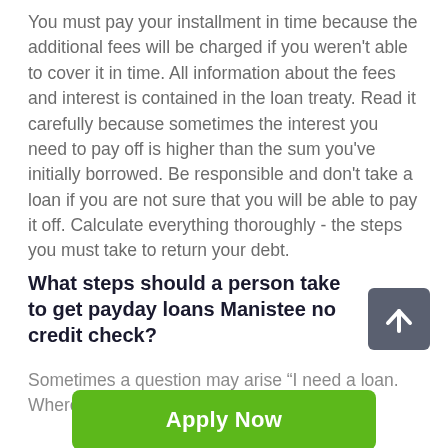You must pay your installment in time because the additional fees will be charged if you weren't able to cover it in time. All information about the fees and interest is contained in the loan treaty. Read it carefully because sometimes the interest you need to pay off is higher than the sum you've initially borrowed. Be responsible and don't take a loan if you are not sure that you will be able to pay it off. Calculate everything thoroughly - the steps you must take to return your debt.
What steps should a person take to get payday loans Manistee no credit check?
Sometimes a question may arise “I need a loan. Where can
[Figure (other): Grey square scroll-to-top button with upward arrow icon]
Apply Now
Applying does NOT affect your credit score!
No credit check to apply.